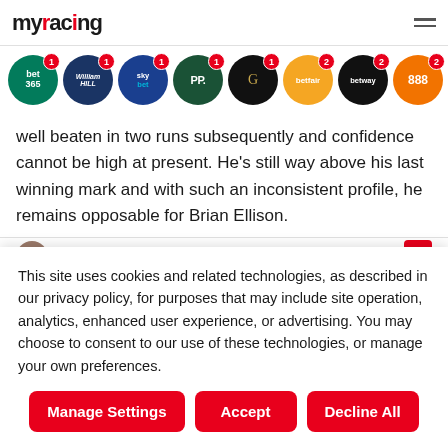myracing
[Figure (other): Row of bookmaker icon circles with notification badges: bet365 (1), William Hill (1), Sky Bet (1), Paddy Power (1), Grosvenor (1), Betfair (2), Betway (2), 888 (2)]
well beaten in two runs subsequently and confidence cannot be high at present. He's still way above his last winning mark and with such an inconsistent profile, he remains opposable for Brian Ellison.
This site uses cookies and related technologies, as described in our privacy policy, for purposes that may include site operation, analytics, enhanced user experience, or advertising. You may choose to consent to our use of these technologies, or manage your own preferences.
Manage Settings | Accept | Decline All